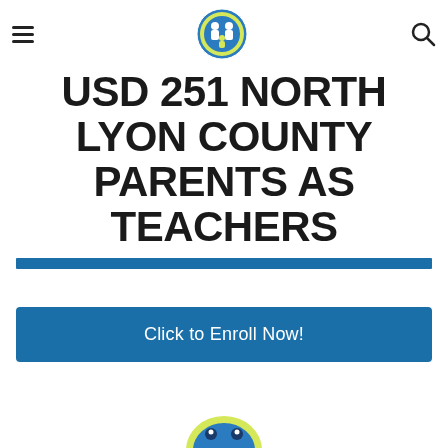USD 251 North Lyon County Parents as Teachers
USD 251 NORTH LYON COUNTY PARENTS AS TEACHERS
Click to Enroll Now!
[Figure (logo): Parents as Teachers circular logo with two adult figures and child figure, blue and yellow colors]